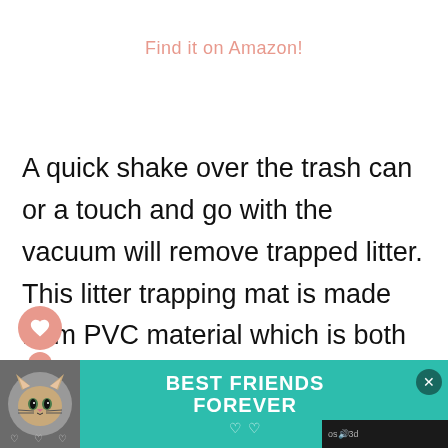Find it on Amazon!
A quick shake over the trash can or a touch and go with the vacuum will remove trapped litter. This litter trapping mat is made from PVC material which is both safe and waterproof. It will also trap and hold
[Figure (screenshot): Pink circular heart button UI element with heart icon]
[Figure (screenshot): Pink circular badge showing count of 1]
[Figure (screenshot): Pink circular share button with share icon]
[Figure (screenshot): Teal advertisement banner showing a cat and text BEST FRIENDS FOREVER with close X buttons and partial text at bottom]